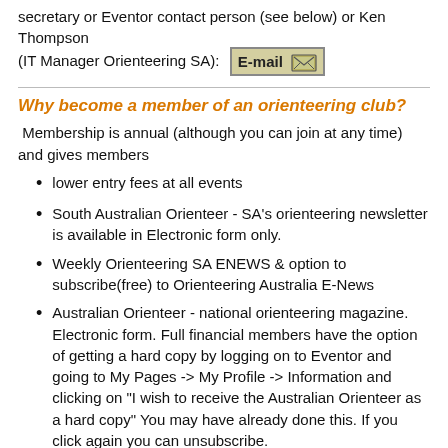secretary or Eventor contact person (see below) or Ken Thompson (IT Manager Orienteering SA): [E-mail button]
Why become a member of an orienteering club?
Membership is annual (although you can join at any time) and gives members
lower entry fees at all events
South Australian Orienteer - SA's orienteering newsletter is available in Electronic form only.
Weekly Orienteering SA ENEWS & option to subscribe(free) to Orienteering Australia E-News
Australian Orienteer - national orienteering magazine. Electronic form. Full financial members have the option of getting a hard copy by logging on to Eventor and going to My Pages -> My Profile -> Information and clicking on "I wish to receive the Australian Orienteer as a hard copy" You may have already done this. If you click again you can unsubscribe.
access to club based training and social activities
information on major orienteering events and carnivals
access to network of orienteers to provide assistance with...